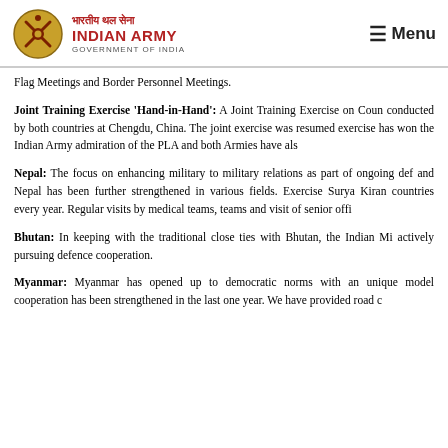भारतीय थल सेना INDIAN ARMY GOVERNMENT OF INDIA | Menu
Flag Meetings and Border Personnel Meetings.
Joint Training Exercise 'Hand-in-Hand': A Joint Training Exercise on Coun conducted by both countries at Chengdu, China. The joint exercise was resumed exercise has won the Indian Army admiration of the PLA and both Armies have als
Nepal: The focus on enhancing military to military relations as part of ongoing def and Nepal has been further strengthened in various fields. Exercise Surya Kiran countries every year. Regular visits by medical teams, teams and visit of senior offi
Bhutan: In keeping with the traditional close ties with Bhutan, the Indian Mi actively pursuing defence cooperation.
Myanmar: Myanmar has opened up to democratic norms with an unique model cooperation has been strengthened in the last one year. We have provided road c